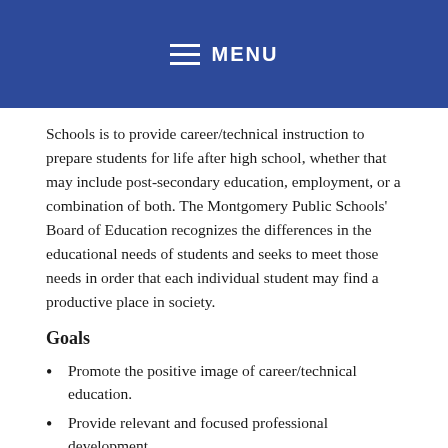MENU
Schools is to provide career/technical instruction to prepare students for life after high school, whether that may include post-secondary education, employment, or a combination of both. The Montgomery Public Schools' Board of Education recognizes the differences in the educational needs of students and seeks to meet those needs in order that each individual student may find a productive place in society.
Goals
Promote the positive image of career/technical education.
Provide relevant and focused professional development.
Maintain effective partnerships to promote development of Montgomery's workforce.
Provide continuous development of rigorous, progressive, and research-based career/technical education curricula.
Recruit and retain highly qualified career/technical teachers and administrators.
Increase the academic skills of career/technical education students.
Exceed minimum requirements of state and federal